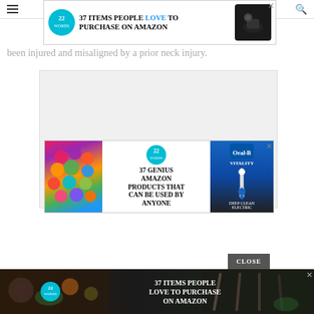been injured and misaligned by a prior neck injury.
[Figure (screenshot): Advertisement banner: 22 Words logo, '37 ITEMS PEOPLE LOVE TO PURCHASE ON AMAZON' with wireless earbuds image, close button]
[Figure (screenshot): Gray content placeholder box]
[Figure (screenshot): Advertisement: '37 GENIUS AMAZON PRODUCTS THAT CAN BE USED BY ANYONE' with scrunchies image and Oral-B Vitality toothbrush ad]
[Figure (screenshot): CLOSE button (dark gray)]
[Figure (screenshot): Advertisement banner: '37 ITEMS PEOPLE LOVE TO PURCHASE ON AMAZON' with food/knives background]
Once l... -ray or cone-b... determ... on of